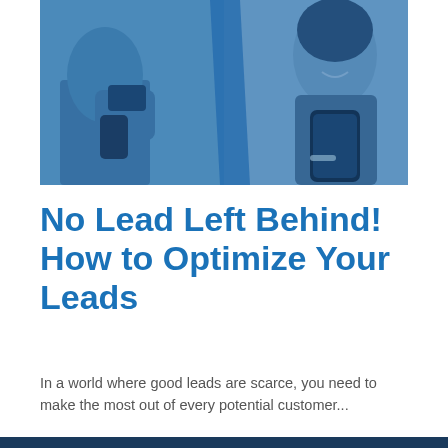[Figure (photo): Two people using smartphones, with a blue color overlay. Left side shows a person holding a card near a phone, right side shows a woman smiling while looking at her phone. A diagonal blue stripe divides the two halves.]
No Lead Left Behind! How to Optimize Your Leads
In a world where good leads are scarce, you need to make the most out of every potential customer...